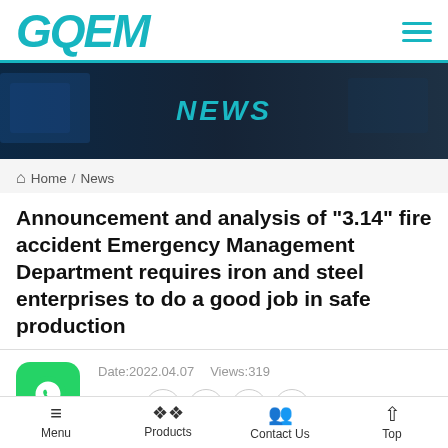GQEM
[Figure (other): Dark hero banner with 'NEWS' title in teal italic text]
Home / News
Announcement and analysis of "3.14" fire accident Emergency Management Department requires iron and steel enterprises to do a good job in safe production
Date: 2022.04.07   Views: 319
Share: (Facebook) (Twitter) (LinkedIn) (YouTube)
Menu   Products   Contact Us   Top
On March 24, the Safety Law Enforcement of the Ministry of